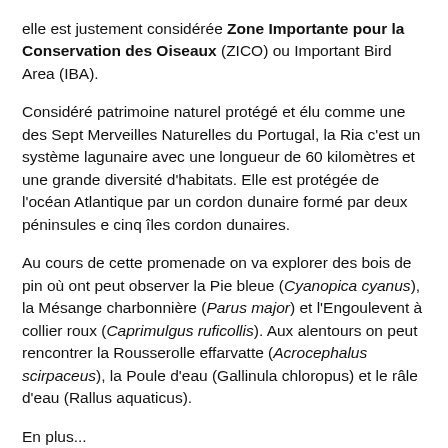elle est justement considérée Zone Importante pour la Conservation des Oiseaux (ZICO) ou Important Bird Area (IBA).
Considéré patrimoine naturel protégé et élu comme une des Sept Merveilles Naturelles du Portugal, la Ria c'est un système lagunaire avec une longueur de 60 kilomètres et une grande diversité d'habitats. Elle est protégée de l'océan Atlantique par un cordon dunaire formé par deux péninsules e cinq îles cordon dunaires.
Au cours de cette promenade on va explorer des bois de pin où ont peut observer la Pie bleue (Cyanopica cyanus), la Mésange charbonnière (Parus major) et l'Engoulevent à collier roux (Caprimulgus ruficollis). Aux alentours on peut rencontrer la Rousserolle effarvatte (Acrocephalus scirpaceus), la Poule d'eau (Gallinula chloropus) et le râle d'eau (Rallus aquaticus).
En plus...